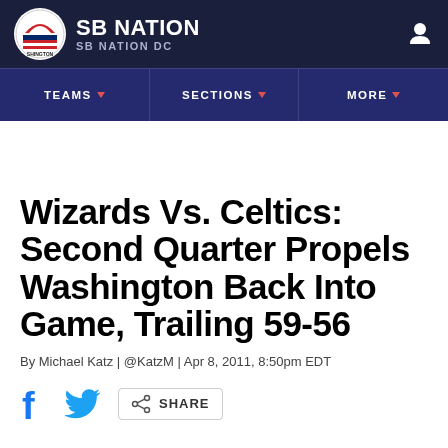SB NATION / SB NATION DC
Wizards Vs. Celtics: Second Quarter Propels Washington Back Into Game, Trailing 59-56
By Michael Katz | @KatzM | Apr 8, 2011, 8:50pm EDT
SHARE